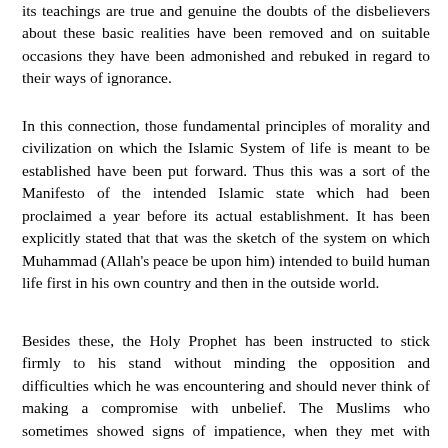its teachings are true and genuine the doubts of the disbelievers about these basic realities have been removed and on suitable occasions they have been admonished and rebuked in regard to their ways of ignorance.
In this connection, those fundamental principles of morality and civilization on which the Islamic System of life is meant to be established have been put forward. Thus this was a sort of the Manifesto of the intended Islamic state which had been proclaimed a year before its actual establishment. It has been explicitly stated that that was the sketch of the system on which Muhammad (Allah's peace be upon him) intended to build human life first in his own country and then in the outside world.
Besides these, the Holy Prophet has been instructed to stick firmly to his stand without minding the opposition and difficulties which he was encountering and should never think of making a compromise with unbelief. The Muslims who sometimes showed signs of impatience, when they met with persecution, calumny, and crooked arguments, have also been instructed to face adverse circumstances with